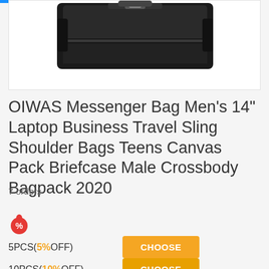[Figure (photo): Product photo of a black messenger bag / briefcase on white background]
OIWAS Messenger Bag Men's 14" Laptop Business Travel Sling Shoulder Bags Teens Canvas Pack Briefcase Male Crossbody Bagpack 2020
7 orders
[Figure (illustration): Red fire/drop icon with percent symbol indicating discount promotion]
5PCS(5%OFF) CHOOSE
10PCS(10%OFF) CHOOSE